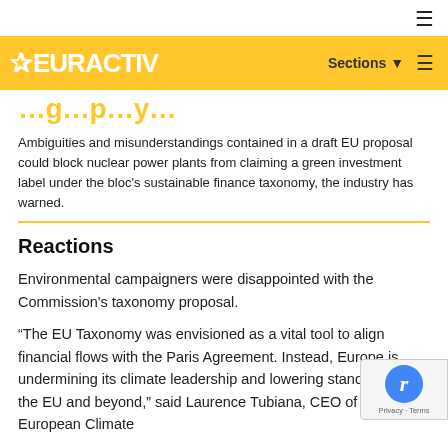[Figure (logo): EURACTIV logo on yellow header bar with Sections and hamburger menu]
…g…p…y…
Ambiguities and misunderstandings contained in a draft EU proposal could block nuclear power plants from claiming a green investment label under the bloc's sustainable finance taxonomy, the industry has warned.
Reactions
Environmental campaigners were disappointed with the Commission's taxonomy proposal.
“The EU Taxonomy was envisioned as a vital tool to align financial flows with the Paris Agreement. Instead, Europe is undermining its climate leadership and lowering standards in the EU and beyond,” said Laurence Tubiana, CEO of the European Climate